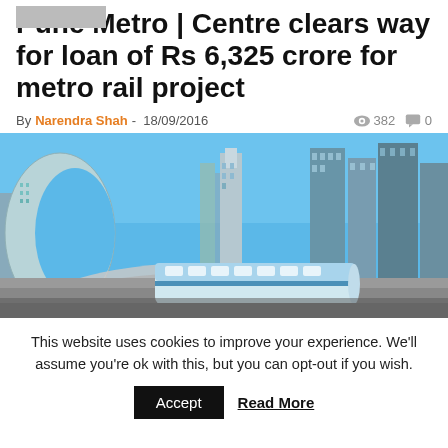Pune Metro | Centre clears way for loan of Rs 6,325 crore for metro rail project
By Narendra Shah - 18/09/2016  382  0
[Figure (photo): City skyline with tall modern skyscrapers and a metro/monorail train at a station in the foreground, blue sky background]
This website uses cookies to improve your experience. We'll assume you're ok with this, but you can opt-out if you wish. Accept  Read More